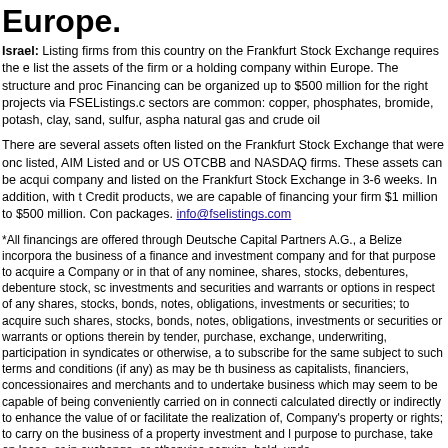Europe.
Israel: Listing firms from this country on the Frankfurt Stock Exchange requires the establishment list the assets of the firm or a holding company within Europe. The structure and products are varied. Financing can be organized up to $500 million for the right projects via FSEListings.com. The following sectors are common: copper, phosphates, bromide, potash, clay, sand, sulfur, asphalt, natural gas and crude oil
There are several assets often listed on the Frankfurt Stock Exchange that were once AIM listed, AIM Listed and or US OTCBB and NASDAQ firms. These assets can be acquired by our company and listed on the Frankfurt Stock Exchange in 3-6 weeks. In addition, with the Credit products, we are capable of financing your firm $1 million to $500 million. Contact us for packages. info@fselistings.com
*All financings are offered through Deutsche Capital Partners A.G., a Belize incorporated company, the business of a finance and investment company and for that purpose to acquire and hold in the Company or in that of any nominee, shares, stocks, debentures, debenture stock, scrip, investments and securities and warrants or options in respect of any shares, stocks, debentures, bonds, notes, obligations, investments or securities; to acquire such shares, stocks, debentures, bonds, notes, obligations, investments or securities or warrants or options therein by original tender, purchase, exchange, underwriting, participation in syndicates or otherwise, and to subscribe for the same subject to such terms and conditions (if any) as may be thought fit; to carry on business as capitalists, financiers, concessionaires and merchants and to undertake and carry on business which may seem to be capable of being conveniently carried on in connection with or calculated directly or indirectly to enhance the value of or facilitate the realization of, promote the Company's property or rights; to carry on the business of a property investment and holding company; purpose to purchase, take on lease, or in exchange, or otherwise acquire, hold, under obligations